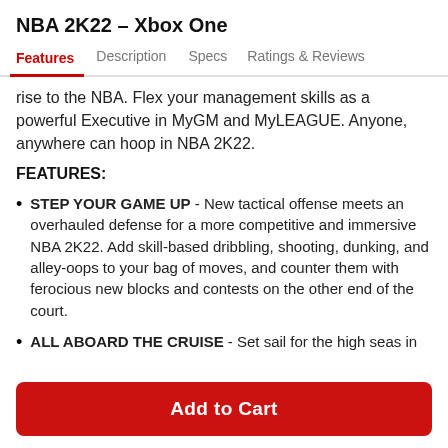NBA 2K22 – Xbox One
Features  Description  Specs  Ratings & Reviews
rise to the NBA. Flex your management skills as a powerful Executive in MyGM and MyLEAGUE. Anyone, anywhere can hoop in NBA 2K22.
FEATURES:
STEP YOUR GAME UP - New tactical offense meets an overhauled defense for a more competitive and immersive NBA 2K22. Add skill-based dribbling, shooting, dunking, and alley-oops to your bag of moves, and counter them with ferocious new blocks and contests on the other end of the court.
ALL ABOARD THE CRUISE - Set sail for the high seas in